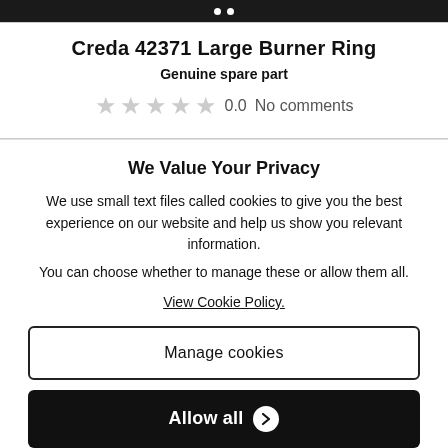[Figure (screenshot): Dark top navigation bar with two white dots (carousel indicators)]
Creda 42371 Large Burner Ring
Genuine spare part
0.0  No comments
We Value Your Privacy
We use small text files called cookies to give you the best experience on our website and help us show you relevant information.
You can choose whether to manage these or allow them all.
View Cookie Policy.
Manage cookies
Allow all